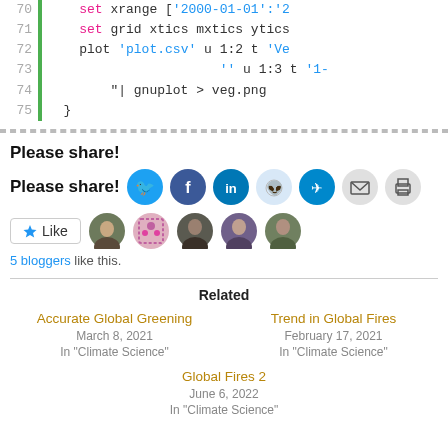[Figure (screenshot): Code editor screenshot showing lines 70-75 of a gnuplot script with syntax highlighting]
Please share!
[Figure (infographic): Social share buttons: Twitter, Facebook, LinkedIn, Reddit, Telegram, Email, Print]
[Figure (infographic): Like button and 5 blogger avatars. 5 bloggers like this.]
Related
Accurate Global Greening
March 8, 2021
In "Climate Science"
Trend in Global Fires
February 17, 2021
In "Climate Science"
Global Fires 2
June 6, 2022
In "Climate Science"